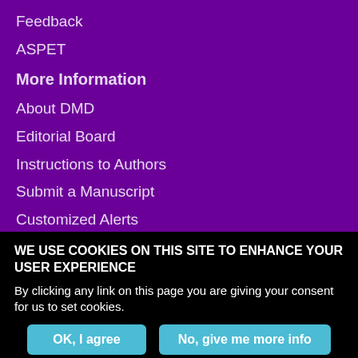Feedback
ASPET
More Information
About DMD
Editorial Board
Instructions to Authors
Submit a Manuscript
Customized Alerts
RSS Feeds
Subscriptions
WE USE COOKIES ON THIS SITE TO ENHANCE YOUR USER EXPERIENCE
By clicking any link on this page you are giving your consent for us to set cookies.
OK, I agree | No, give me more info